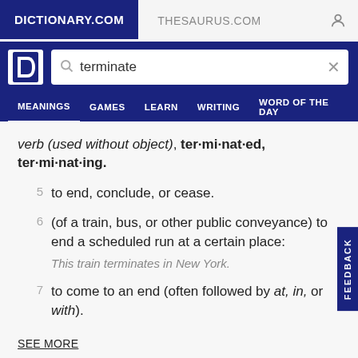DICTIONARY.COM   THESAURUS.COM
verb (used without object), ter·mi·nat·ed, ter·mi·nat·ing.
5   to end, conclude, or cease.
6   (of a train, bus, or other public conveyance) to end a scheduled run at a certain place: This train terminates in New York.
7   to come to an end (often followed by at, in, or with).
SEE MORE